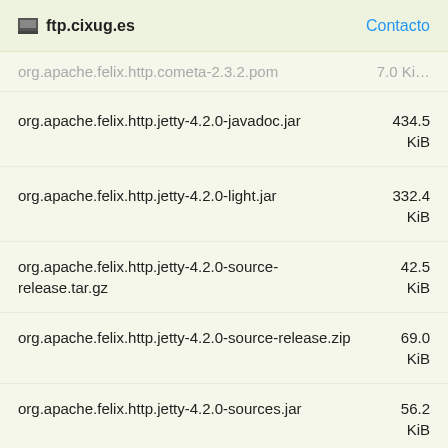ftp.cixug.es  Contacto
org.apache.felix.http.cometa-2.3.2.pom  7.0 KiB
org.apache.felix.http.jetty-4.2.0-javadoc.jar  434.5 KiB
org.apache.felix.http.jetty-4.2.0-light.jar  332.4 KiB
org.apache.felix.http.jetty-4.2.0-source-release.tar.gz  42.5 KiB
org.apache.felix.http.jetty-4.2.0-source-release.zip  69.0 KiB
org.apache.felix.http.jetty-4.2.0-sources.jar  56.2 KiB